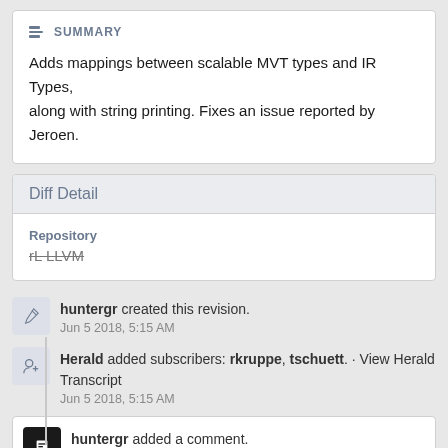SUMMARY
Adds mappings between scalable MVT types and IR Types, along with string printing. Fixes an issue reported by Jeroen.
Diff Detail
Repository
rL LLVM
huntergr created this revision.
Jun 5 2018, 5:15 AM
Herald added subscribers: rkruppe, tschuett. · View Herald Transcript
Jun 5 2018, 5:15 AM
huntergr added a comment.
Jun 5 2018, 5:20 AM